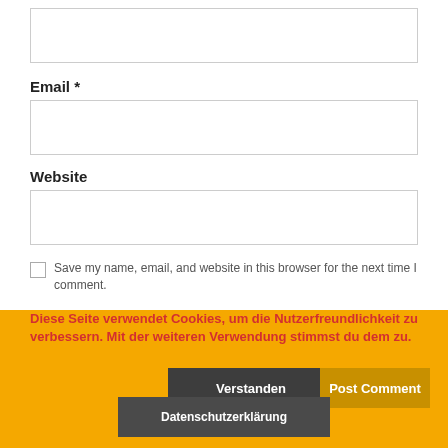[Figure (screenshot): Empty text input box at top of form]
Email *
[Figure (screenshot): Empty email input box]
Website
[Figure (screenshot): Empty website input box]
Save my name, email, and website in this browser for the next time I comment.
Diese Seite verwendet Cookies, um die Nutzerfreundlichkeit zu verbessern. Mit der weiteren Verwendung stimmst du dem zu.
Verstanden
Post Comment
Datenschutzerklärung